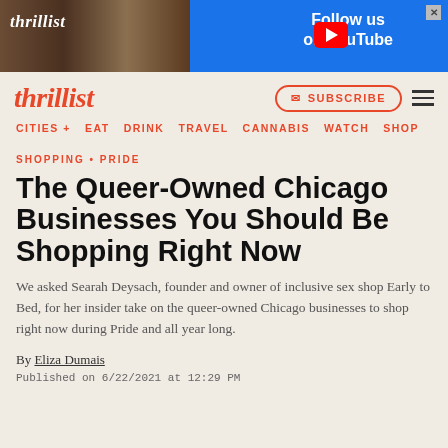[Figure (screenshot): Thrillist YouTube ad banner with photo of person and 'Follow us on YouTube' button]
thrillist | SUBSCRIBE | navigation menu
CITIES + | EAT | DRINK | TRAVEL | CANNABIS | WATCH | SHOP
SHOPPING • PRIDE
The Queer-Owned Chicago Businesses You Should Be Shopping Right Now
We asked Searah Deysach, founder and owner of inclusive sex shop Early to Bed, for her insider take on the queer-owned Chicago businesses to shop right now during Pride and all year long.
By Eliza Dumais
Published on 6/22/2021 at 12:29 PM